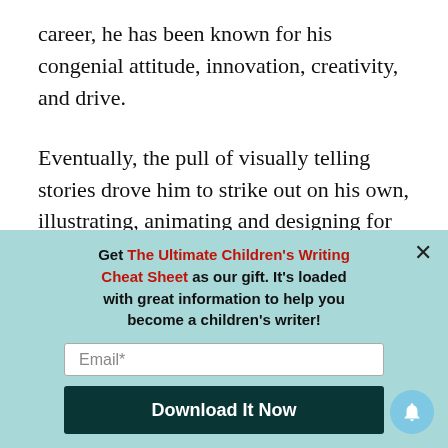career, he has been known for his congenial attitude, innovation, creativity, and drive.
Eventually, the pull of visually telling stories drove him to strike out on his own, illustrating, animating and designing for local and national clients. Today, David has built a wide-ranging portfolio and a reputation for fairness and excellence. David also writes a personal
[Figure (screenshot): Modal popup with light teal background. Headline: 'Get The Ultimate Children's Writing Cheat Sheet as our gift. It's loaded with great information to help you become a children's writer!' with red text for the title. Below is an email input field and a dark teal 'Download It Now' button. A close X is in the top right corner. A blue notification bell icon is in the bottom right.]